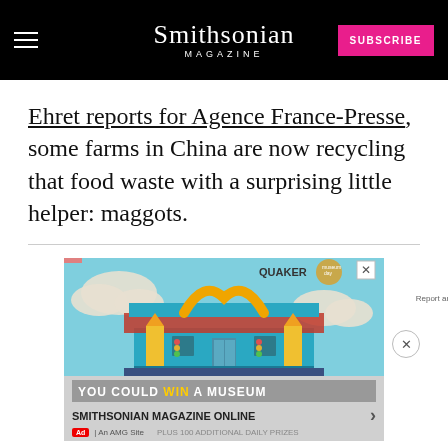Smithsonian MAGAZINE | SUBSCRIBE
Ehret reports for Agence France-Presse, some farms in China are now recycling that food waste with a surprising little helper: maggots.
[Figure (screenshot): Advertisement for Smithsonian Magazine Online / Quaker Museum Day promotion, showing an illustrated building with pencil columns and golden arches, with text 'YOU COULD WIN A MUSEUM' and 'PLUS 100 ADDITIONAL DAILY PRIZES']
SMITHSONIAN MAGAZINE ONLINE
Ad | An AMG Site